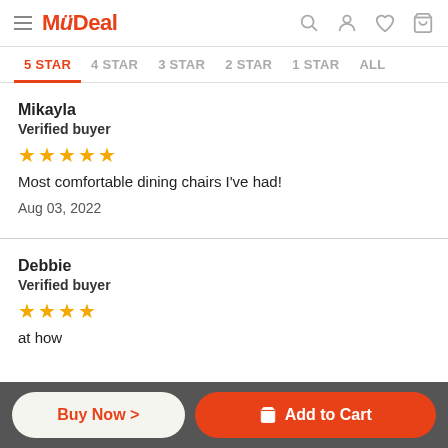MyDeal
5 STAR | 4 STAR | 3 STAR | 2 STAR | 1 STAR | ALL
Mikayla
Verified buyer
★★★★★
Most comfortable dining chairs I've had!
Aug 03, 2022
Debbie
Verified buyer
★★★★
Buy Now > | Add to Cart